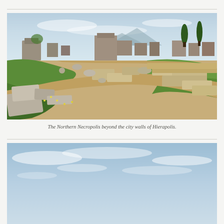[Figure (photo): Photograph of the Northern Necropolis beyond the city walls of Hierapolis. Shows an ancient archaeological site with scattered stone ruins, sarcophagi, and tomb structures on grassy terrain. A dirt path runs through the center. Mountains and sky visible in the background, with cypress trees on the right.]
The Northern Necropolis beyond the city walls of Hierapolis.
[Figure (photo): Partially visible photograph showing the top portion of a sky scene with light blue sky and wispy clouds, likely another view of the Hierapolis archaeological site.]